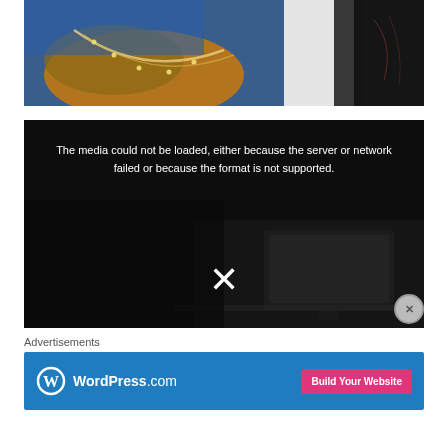[Figure (photo): Top portion of a photo showing colorful embroidered fabric in blue, orange and gold with beaded necklace, and dark hair of a person on the right side.]
[Figure (screenshot): Video player showing error message: 'The media could not be loaded, either because the server or network failed or because the format is not supported.' with an X dismiss button. Dark background with dim desk/monitor scene visible behind.]
Advertisements
[Figure (other): WordPress.com advertisement banner with blue background, WordPress logo and name on left, and pink 'Build Your Website' button on right.]